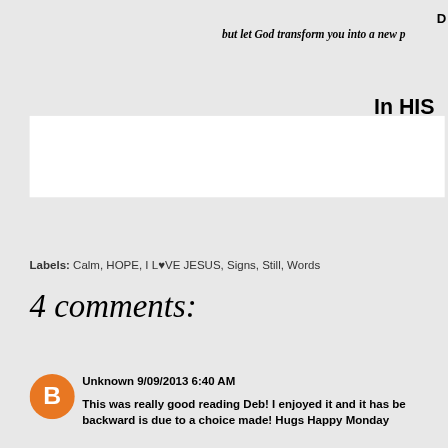D
but let God transform you into a new p
In HIS
[Figure (other): White advertisement/content box]
Labels: Calm, HOPE, I L♥VE JESUS, Signs, Still, Words
4 comments:
Unknown  9/09/2013 6:40 AM
This was really good reading Deb! I enjoyed it and it has be backward is due to a choice made! Hugs Happy Monday